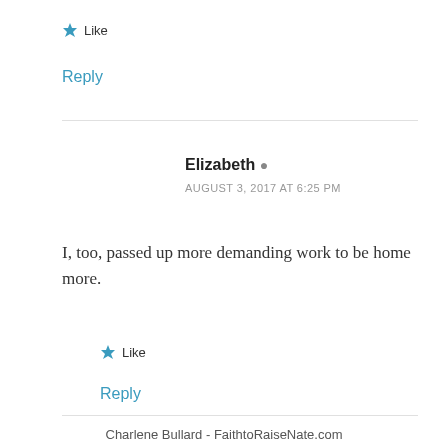★ Like
Reply
Elizabeth 👤
AUGUST 3, 2017 AT 6:25 PM
I, too, passed up more demanding work to be home more.
★ Like
Reply
Charlene Bullard - FaithtoRaiseNate.com